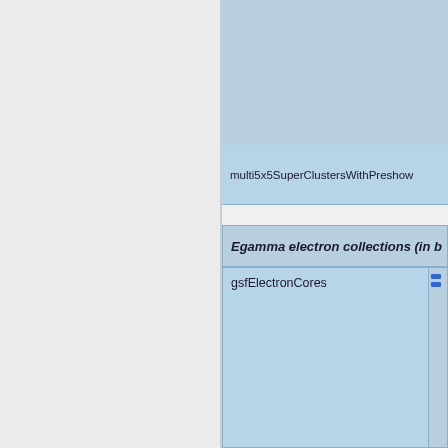| Collection | Links |
| --- | --- |
| multi5x5SuperClustersWithPreshow… |  |
| gsfElectronCores |  |
Egamma electron collections (in b…